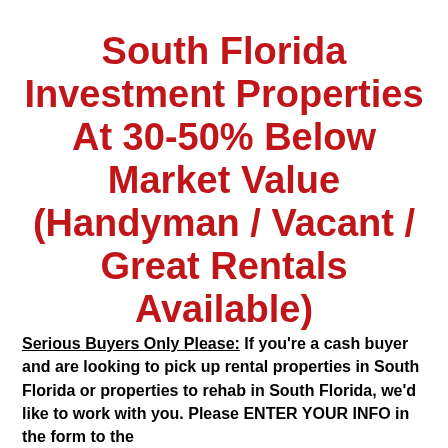South Florida Investment Properties At 30-50% Below Market Value (Handyman / Vacant / Great Rentals Available)
Serious Buyers Only Please: If you're a cash buyer and are looking to pick up rental properties in South Florida or properties to rehab in South Florida, we'd like to work with you. Please ENTER YOUR INFO in the form to the